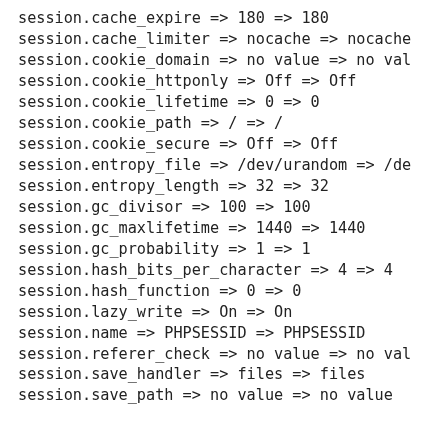session.cache_expire => 180 => 180
session.cache_limiter => nocache => nocache
session.cookie_domain => no value => no val
session.cookie_httponly => Off => Off
session.cookie_lifetime => 0 => 0
session.cookie_path => / => /
session.cookie_secure => Off => Off
session.entropy_file => /dev/urandom => /de
session.entropy_length => 32 => 32
session.gc_divisor => 100 => 100
session.gc_maxlifetime => 1440 => 1440
session.gc_probability => 1 => 1
session.hash_bits_per_character => 4 => 4
session.hash_function => 0 => 0
session.lazy_write => On => On
session.name => PHPSESSID => PHPSESSID
session.referer_check => no value => no val
session.save_handler => files => files
session.save_path => no value => no value